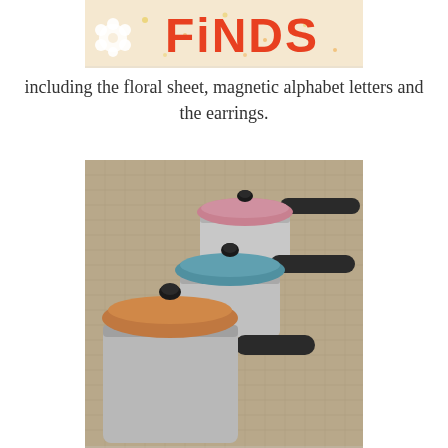[Figure (photo): Top portion of a banner image showing 'FiNDS' text in red/orange letters on a floral fabric background with a flower decoration on the left]
including the floral sheet, magnetic alphabet letters and the earrings.
[Figure (photo): Three small aluminum saucepans with colored lids (pink, blue/teal, and copper) and black handles, arranged on a burlap/linen background]